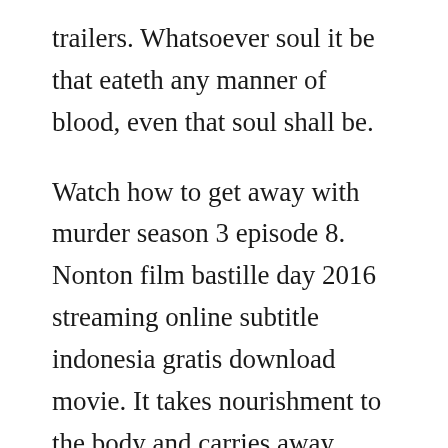trailers. Whatsoever soul it be that eateth any manner of blood, even that soul shall be.
Watch how to get away with murder season 3 episode 8. Nonton film bastille day 2016 streaming online subtitle indonesia gratis download movie. It takes nourishment to the body and carries away waste. He returns five years later a changed man, determined to clean up the city as a hooded vigilante armed with a bow. When he was caught making an illegal and in fact for the real torero life endangering night bullfight with one of.